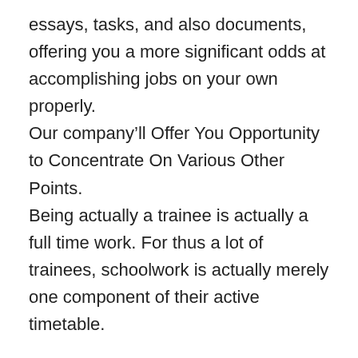essays, tasks, and also documents, offering you a more significant odds at accomplishing jobs on your own properly.
Our company’ll Offer You Opportunity to Concentrate On Various Other Points.
Being actually a trainee is actually a full time work. For thus a lot of trainees, schoolwork is actually merely one component of their active timetable.
If you permit our team take one assignment off your platter, you’ll be actually acquiring priceless hrs or maybe times back, enabling you to pay attention to your various other responsibilities, hang around along with your loved ones, or even merely obtain some much-needed furlough.